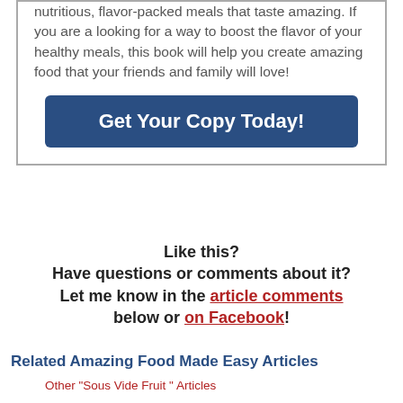nutritious, flavor-packed meals that taste amazing. If you are a looking for a way to boost the flavor of your healthy meals, this book will help you create amazing food that your friends and family will love!
Get Your Copy Today!
Like this?
Have questions or comments about it?
Let me know in the article comments below or on Facebook!
Related Amazing Food Made Easy Articles
Other "Sous Vide Fruit " Articles